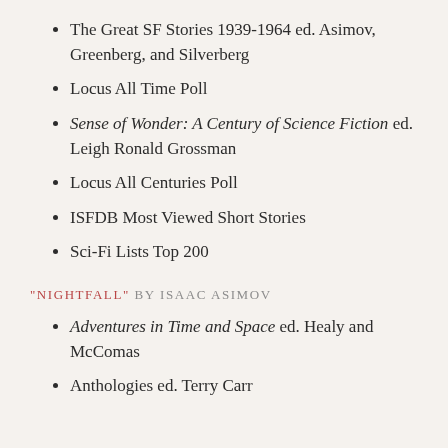The Great SF Stories 1939-1964 ed. Asimov, Greenberg, and Silverberg
Locus All Time Poll
Sense of Wonder: A Century of Science Fiction ed. Leigh Ronald Grossman
Locus All Centuries Poll
ISFDB Most Viewed Short Stories
Sci-Fi Lists Top 200
"NIGHTFALL" BY ISAAC ASIMOV
Adventures in Time and Space ed. Healy and McComas
Anthologies ed. Terry Carr